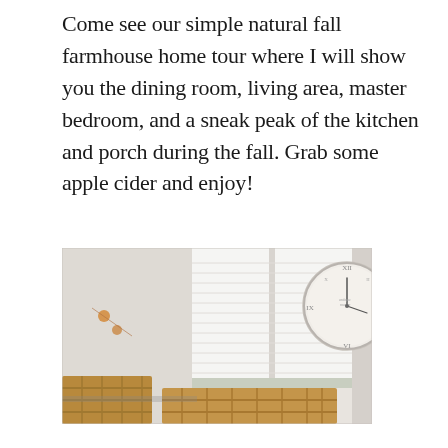Come see our simple natural fall farmhouse home tour where I will show you the dining room, living area, master bedroom, and a sneak peak of the kitchen and porch during the fall. Grab some apple cider and enjoy!
[Figure (photo): Interior photo of a farmhouse dining room with wooden chairs in the foreground, bright windows with white blinds in the background, and a large round white wall clock with Roman numerals visible on the right side. Small orange/gold decorative elements (possibly garland or lanterns) hang on the left side.]